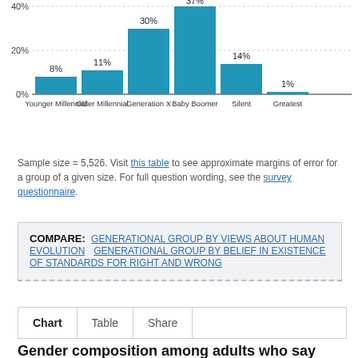[Figure (bar-chart): Generational group distribution]
Sample size = 5,526. Visit this table to see approximate margins of error for a group of a given size. For full question wording, see the survey questionnaire.
COMPARE: GENERATIONAL GROUP BY VIEWS ABOUT HUMAN EVOLUTION   GENERATIONAL GROUP BY BELIEF IN EXISTENCE OF STANDARDS FOR RIGHT AND WRONG
Chart   Table   Share
Gender composition among adults who say that